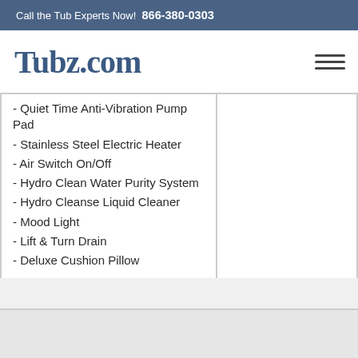Call the Tub Experts Now!  866-380-0303
Tubz.com
- Quiet Time Anti-Vibration Pump Pad
- Stainless Steel Electric Heater
- Air Switch On/Off
- Hydro Clean Water Purity System
- Hydro Cleanse Liquid Cleaner
- Mood Light
- Lift & Turn Drain
- Deluxe Cushion Pillow